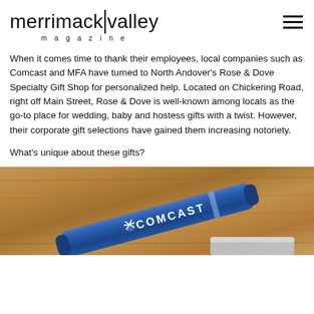merrimack|valley magazine
When it comes time to thank their employees, local companies such as Comcast and MFA have turned to North Andover's Rose & Dove Specialty Gift Shop for personalized help. Located on Chickering Road, right off Main Street, Rose & Dove is well-known among locals as the go-to place for wedding, baby and hostess gifts with a twist. However, their corporate gift selections have gained them increasing notoriety.
What's unique about these gifts?
[Figure (photo): Photo of a blue Comcast-branded tool/item with the Comcast peacock logo and 'COMCAST' text on it, placed on a wooden surface]